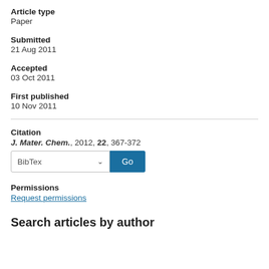Article type
Paper
Submitted
21 Aug 2011
Accepted
03 Oct 2011
First published
10 Nov 2011
Citation
J. Mater. Chem., 2012, 22, 367-372
Permissions
Request permissions
Search articles by author